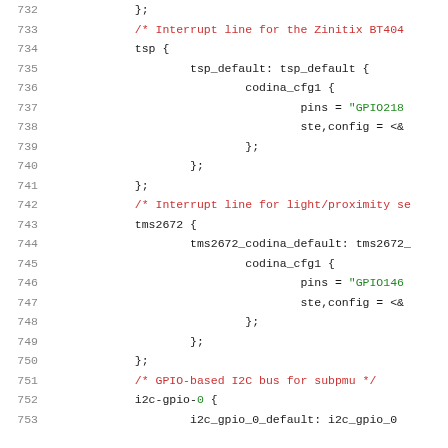Source code listing, lines 732–753, device tree configuration for touchscreen (tsp), light/proximity sensor (tms2672), and GPIO-based I2C bus (i2c-gpio-0)